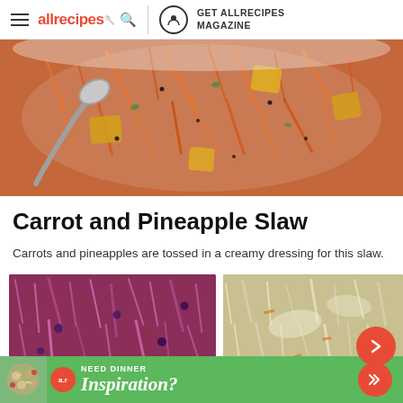allrecipes | GET ALLRECIPES MAGAZINE
[Figure (photo): Close-up photo of carrot and pineapple slaw in a white bowl with a serving spoon, with shredded carrots, pineapple chunks, black sesame seeds, and green herbs visible]
Carrot and Pineapple Slaw
Carrots and pineapples are tossed in a creamy dressing for this slaw.
[Figure (photo): Photo of red cabbage slaw with cranberries and seeds in a wooden bowl]
[Figure (photo): Photo of creamy coleslaw with shredded vegetables, partially obscured by a navigation arrow button]
[Figure (photo): Advertisement banner with green background showing pasta salad image, 'NEED DINNER Inspiration?' text with arrow button]